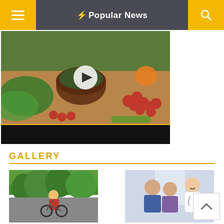Popular News
[Figure (screenshot): Video thumbnail showing food preparation with vegetables on a wooden table. A play button is overlaid in the center. Below is a yellow progress bar and a video controls bar, followed by a black bar.]
GALLERY
[Figure (photo): Person on a bicycle, appearing to be cycling outdoors with green trees in background.]
[Figure (photo): Medical scene with elderly people and a doctor or healthcare worker smiling.]